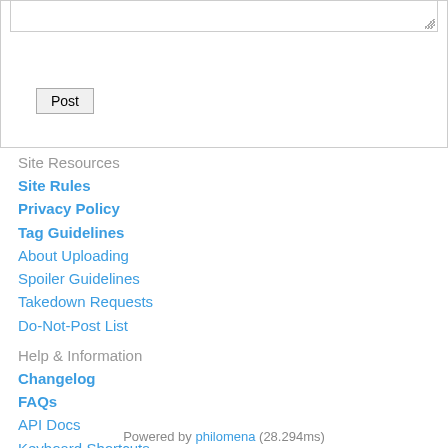[textarea / post form area]
Site Resources
Site Rules
Privacy Policy
Tag Guidelines
About Uploading
Spoiler Guidelines
Takedown Requests
Do-Not-Post List
Help & Information
Changelog
FAQs
API Docs
Keyboard Shortcuts
Advertising
Onion Service
Community
Contact
Donations
Site Staff List
Statistics
About
Twitter
Powered by philomena (28.294ms)